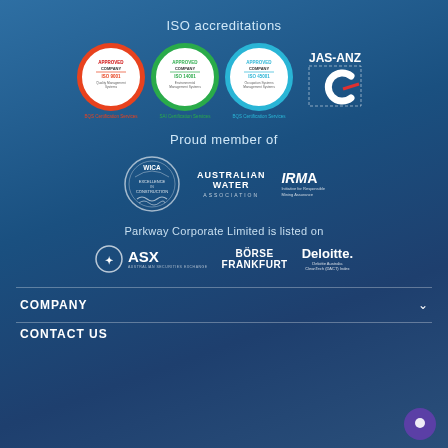ISO accreditations
[Figure (logo): Three ISO certification badges (ISO 9001 red, ISO 14001 green, ISO 45001 cyan) with QMS/EMS/OHSMS descriptions and BQMS, SAI Global, BQS Certification Services text, plus JAS-ANZ logo]
Proud member of
[Figure (logo): WICA Excellence in Construction circular badge, Australian Water ASSOCIATION logo, and IRMA Initiative for Responsible Mining Assurance logo]
Parkway Corporate Limited is listed on
[Figure (logo): ASX (Australian Securities Exchange) logo, BÖRSE FRANKFURT logo, and Deloitte Australia CleanTech (DACT) Index logo]
COMPANY
CONTACT US